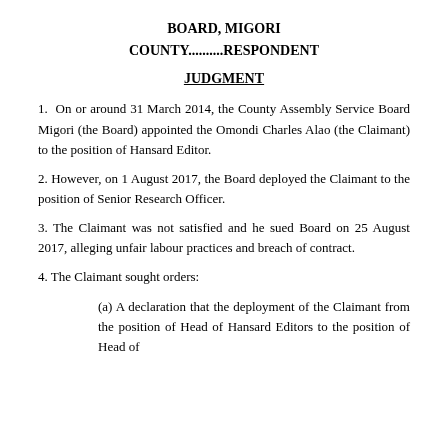BOARD, MIGORI COUNTY..........RESPONDENT
JUDGMENT
1. On or around 31 March 2014, the County Assembly Service Board Migori (the Board) appointed the Omondi Charles Alao (the Claimant) to the position of Hansard Editor.
2. However, on 1 August 2017, the Board deployed the Claimant to the position of Senior Research Officer.
3. The Claimant was not satisfied and he sued Board on 25 August 2017, alleging unfair labour practices and breach of contract.
4. The Claimant sought orders:
(a) A declaration that the deployment of the Claimant from the position of Head of Hansard Editors to the position of Head of